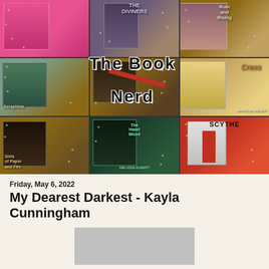[Figure (photo): 3x3 collage of book cover photos arranged on a wooden surface with star decorations. Books shown: row 1: unknown pink cover, The Diviners (Libba Bray), Ruin and Rising; row 2: Seraphina (Rachel Hartman), unknown dark cover with red ribbon, Cress (Marissa Meyer); row 3: Girls of Paper and Fire (Natasha Ngan), The Hazel Wood (Melissa Albert), Scythe. Overlaid text reads 'The Book Nerd' in a hand-drawn style font.]
Friday, May 6, 2022
My Dearest Darkest - Kayla Cunningham
[Figure (photo): Partial view of a book cover with gray/silver background, cut off at bottom of page.]